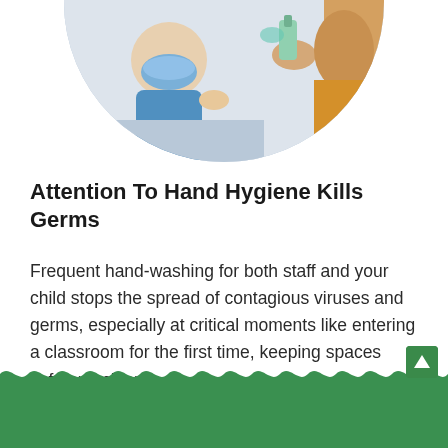[Figure (photo): Child wearing a blue face mask receiving hand sanitizer from an adult, with another person visible in the background. Circular cropped photo at top of page.]
Attention To Hand Hygiene Kills Germs
Frequent hand-washing for both staff and your child stops the spread of contagious viruses and germs, especially at critical moments like entering a classroom for the first time, keeping spaces safe and clean.
[Figure (illustration): Green wavy decorative border at the bottom of the page with a partial photo of a classroom/play area beneath it.]